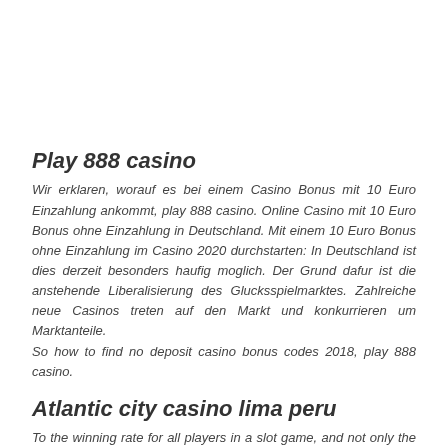Play 888 casino
Wir erklaren, worauf es bei einem Casino Bonus mit 10 Euro Einzahlung ankommt, play 888 casino. Online Casino mit 10 Euro Bonus ohne Einzahlung in Deutschland. Mit einem 10 Euro Bonus ohne Einzahlung im Casino 2020 durchstarten: In Deutschland ist dies derzeit besonders haufig moglich. Der Grund dafur ist die anstehende Liberalisierung des Glucksspielmarktes. Zahlreiche neue Casinos treten auf den Markt und konkurrieren um Marktanteile.
So how to find no deposit casino bonus codes 2018, play 888 casino.
Atlantic city casino lima peru
To the winning rate for all players in a slot game, and not only the spins that you play. Once you start playing you need to keep in mind that the bonuses can be played on all